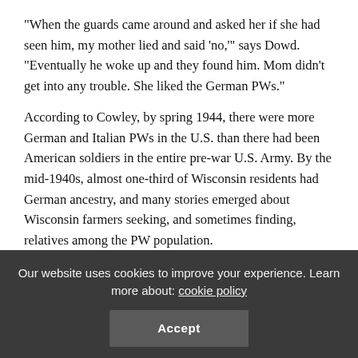“When the guards came around and asked her if she had seen him, my mother lied and said ‘no,’” says Dowd. “Eventually he woke up and they found him. Mom didn’t get into any trouble. She liked the German PWs.”
According to Cowley, by spring 1944, there were more German and Italian PWs in the U.S. than there had been American soldiers in the entire pre-war U.S. Army. By the mid-1940s, almost one-third of Wisconsin residents had German ancestry, and many stories emerged about Wisconsin farmers seeking, and sometimes finding, relatives among the PW population.
Illinois
The main base camps in Illinois included Fort Sheridan (Lake Co.),
Our website uses cookies to improve your experience. Learn more about: cookie policy
Accept